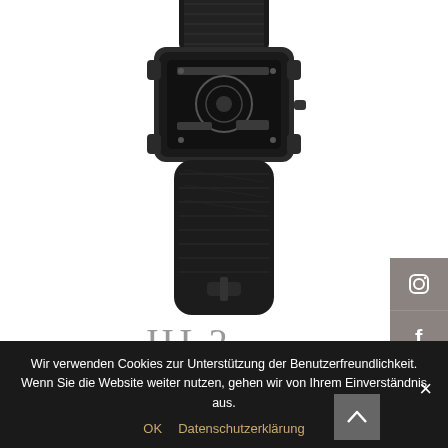[Figure (photo): A luxury watch with black skeletal dial and dark alligator leather strap, viewed from top, partially cropped at the top of the image.]
HL2
The HL2 series from the «Concepts d'Exception» range have 6 various models.
Wir verwenden Cookies zur Unterstützung der Benutzerfreundlichkeit. Wenn Sie die Website weiter nutzen, gehen wir von Ihrem Einverständnis aus.
OK  Datenschutzerklärung